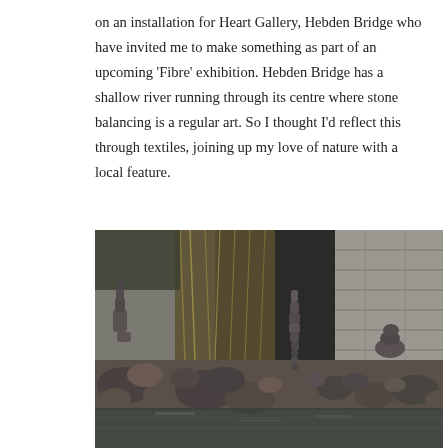on an installation for Heart Gallery, Hebden Bridge who have invited me to make something as part of an upcoming ‘Fibre’ exhibition. Hebden Bridge has a shallow river running through its centre where stone balancing is a regular art. So I thought I’d reflect this through textiles, joining up my love of nature with a local feature.
[Figure (photo): Photograph of stone balancing art at a shallow river in Hebden Bridge. Multiple stacks of balanced stones are visible near a stone wall background with dried grasses. The river water is visible in the foreground.]